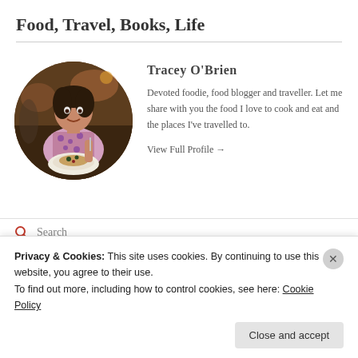Food, Travel, Books, Life
[Figure (photo): Circular profile photo of Tracey O'Brien, a woman smiling at a restaurant table holding a plate of food]
Tracey O'Brien
Devoted foodie, food blogger and traveller. Let me share with you the food I love to cook and eat and the places I've travelled to.
View Full Profile →
Search
Privacy & Cookies: This site uses cookies. By continuing to use this website, you agree to their use.
To find out more, including how to control cookies, see here: Cookie Policy
Close and accept